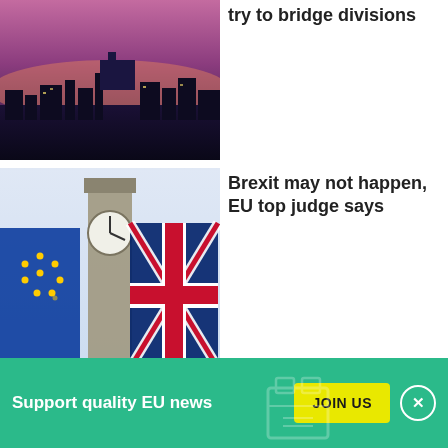[Figure (photo): City skyline at dusk/sunset with purple sky]
try to bridge divisions
[Figure (photo): EU flag and UK Union Jack flag in front of Big Ben, London]
Brexit may not happen, EU top judge says
[Figure (photo): Angela Merkel boarding a Bundesrepublik Deutschland aircraft]
Merkel wants EU to focus on jobs and security
Support quality EU news
JOIN US